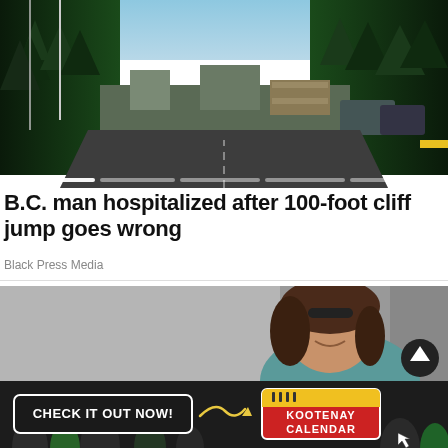[Figure (photo): A road scene with tall evergreen trees on both sides and vehicles in the background, with a blue sky visible above. A progress/carousel bar is shown at the bottom of the image.]
B.C. man hospitalized after 100-foot cliff jump goes wrong
Black Press Media
[Figure (photo): A partial image of a smiling woman with dark hair wearing a teal jacket, with a dark scroll-to-top button visible.]
[Figure (infographic): Advertisement banner with text 'CHECK IT OUT NOW!' and 'KOOTENAY CALENDAR' on a dark background with crowd imagery.]